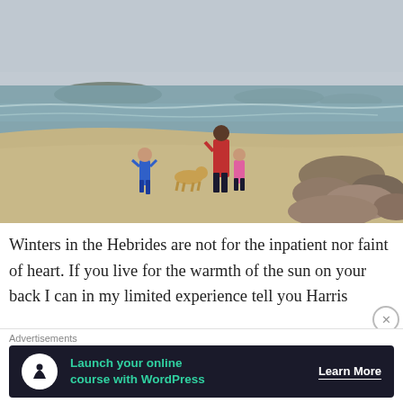[Figure (photo): A beach scene on a grey overcast day. An adult in a red coat and two young children walk on a sandy beach along the Scottish Hebrides coast. A golden dog runs nearby. Rocky outcrops visible on the right, distant islands in the sea background.]
Winters in the Hebrides are not for the inpatient nor faint of heart. If you live for the warmth of the sun on your back I can in my limited experience tell you Harris
Advertisements
[Figure (screenshot): Advertisement banner with dark background: icon of a tree/person silhouette in a white circle, green text reading 'Launch your online course with WordPress', and 'Learn More' button in white text.]